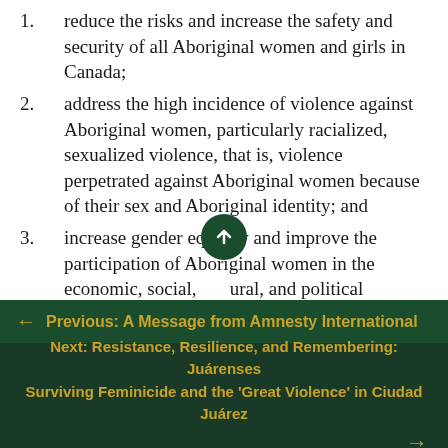reduce the risks and increase the safety and security of all Aboriginal women and girls in Canada;
address the high incidence of violence against Aboriginal women, particularly racialized, sexualized violence, that is, violence perpetrated against Aboriginal women because of their sex and Aboriginal identity; and
increase gender equality and improve the participation of Aboriginal women in the economic, social, cultural, and political …
← Previous: A Message from Amnesty International
Next: Resistance, Resilience, and Remembering: Juárenses Surviving Feminicide and the 'Great Violence' in Ciudad Juárez →